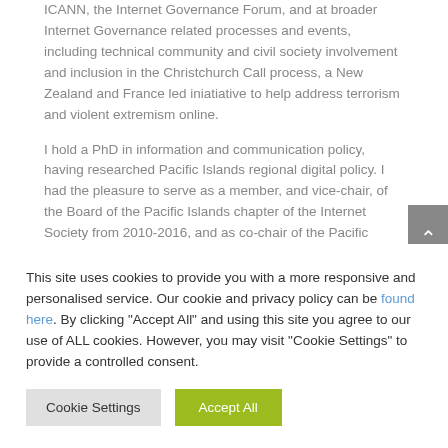ICANN, the Internet Governance Forum, and at broader Internet Governance related processes and events, including technical community and civil society involvement and inclusion in the Christchurch Call process, a New Zealand and France led iniatiative to help address terrorism and violent extremism online.
I hold a PhD in information and communication policy, having researched Pacific Islands regional digital policy. I had the pleasure to serve as a member, and vice-chair, of the Board of the Pacific Islands chapter of the Internet Society from 2010-2016, and as co-chair of the Pacific Internet Partners from 2012-2015, a regional Internet community focused funding organisation. I also have served as a founding
This site uses cookies to provide you with a more responsive and personalised service. Our cookie and privacy policy can be found here. By clicking "Accept All" and using this site you agree to our use of ALL cookies. However, you may visit "Cookie Settings" to provide a controlled consent.